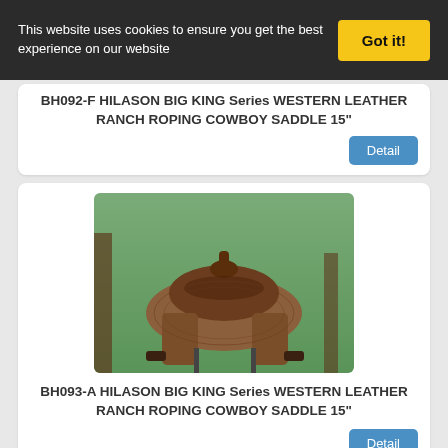This website uses cookies to ensure you get the best experience on our website
Got it!
BH092-F HILASON BIG KING Series WESTERN LEATHER RANCH ROPING COWBOY SADDLE 15"
Detail
[Figure (photo): Western leather ranch roping cowboy saddle displayed on stand outdoors with trees in background]
BH093-A HILASON BIG KING Series WESTERN LEATHER RANCH ROPING COWBOY SADDLE 15"
Detail
[Figure (photo): Western leather ranch roping cowboy saddle (partial view) displayed on stand outdoors]